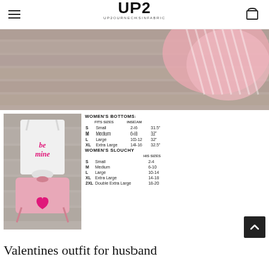UP2 UP2OURNECKSINFABRIC
[Figure (photo): Product lifestyle photo showing pink striped ruffle shorts on a wooden background]
[Figure (photo): Valentine outfit product photo showing white 'be mine' tank top and pink shorts with heart]
|  | WOMEN'S BOTTOMS | FITS SIZES | INSEAM |
| --- | --- | --- | --- |
| S | Small | 2-6 | 31.5" |
| M | Medium | 6-8 | 32" |
| L | Large | 10-12 | 32" |
| XL | Extra Large | 14-16 | 32.5" |
|  | WOMEN'S SLOUCHY | HIS SIZES |
| --- | --- | --- |
| S | Small | 2-4 |
| M | Medium | 6-10 |
| L | Large | 10-14 |
| XL | Extra Large | 14-18 |
| 2XL | Double Extra Large | 18-20 |
Valentines outfit for husband